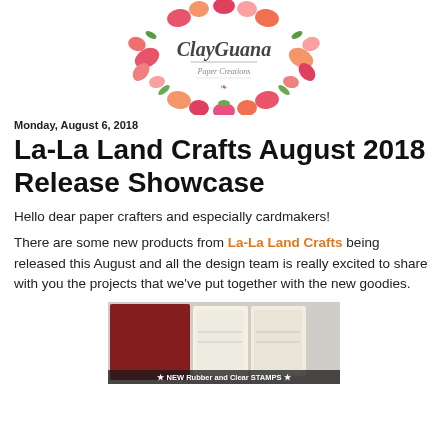[Figure (logo): ClayGuana Paper Creations logo: script text inside a watercolor floral wreath with pink, red, and peach flowers and green leaves]
Monday, August 6, 2018
La-La Land Crafts August 2018 Release Showcase
Hello dear paper crafters and especially cardmakers!
There are some new products from La-La Land Crafts being released this August and all the design team is really excited to share with you the projects that we've put together with the new goodies.
[Figure (photo): Photo showing new rubber and clear stamps products laid out on a surface, with text at bottom: NEW Rubber and Clear STAMPS]